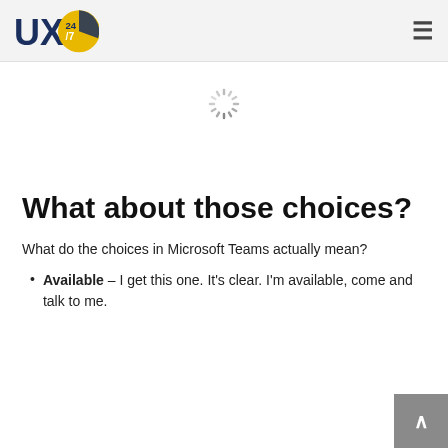UX247 logo and navigation menu
[Figure (illustration): Spinning loading indicator (spinner wheel) centered on the page]
What about those choices?
What do the choices in Microsoft Teams actually mean?
Available – I get this one. It's clear. I'm available, come and talk to me.